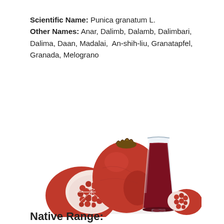Scientific Name: Punica granatum L.
Other Names: Anar, Dalimb, Dalamb, Dalimbari, Dalima, Daan, Madalai, An-shih-liu, Granatapfel, Granada, Melograno
[Figure (photo): Photo of pomegranate fruit: one whole pomegranate, one half pomegranate showing red seeds on the left, a glass of deep red pomegranate juice in the center, and a pomegranate quarter with seeds on the right, all on a white background.]
Native Range: